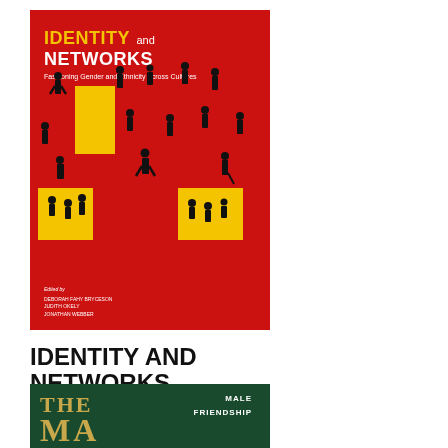[Figure (illustration): Book cover for 'Identity and Networks: Fashioning Gender and Ethnicity Across Cultures'. Red background with silhouetted human figures scattered across the cover, two yellow rectangles containing grouped figures. Title in yellow and white at top. Edited by Deborah Fahy Bryceson, Judith Okely, Jonathan Webber.]
IDENTITY AND NETWORKS
Fashioning Gender and Ethnicity across Cultures
[Figure (illustration): Partial view of a second book cover with dark green background. Shows 'THE' in gold serif letters on the left and 'MALE FRIENDSHIP' text visible on the right side. Bottom portion cut off.]